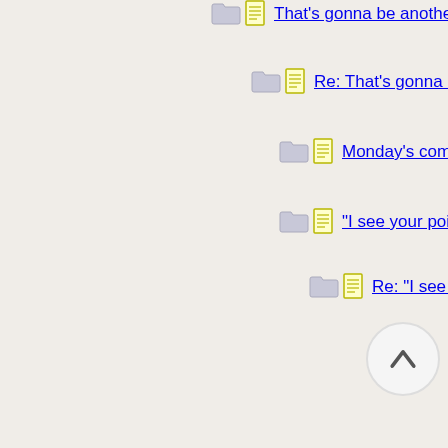That's gonna be another tough one
Re: That's gonna be another tough one
Monday's comment of ACUITY. ...Oh my!
"I see your point," Tom said sharply
Re: "I see your point," Tom said sharply
A sad desuetude of the once happy word...
Re: A sad desuetude of the once happ...
Rubens would be so proud
Re: Rubens would be so proud
The pretentious use of the wor...
nolidj is power
nolidj is power - Mark!...